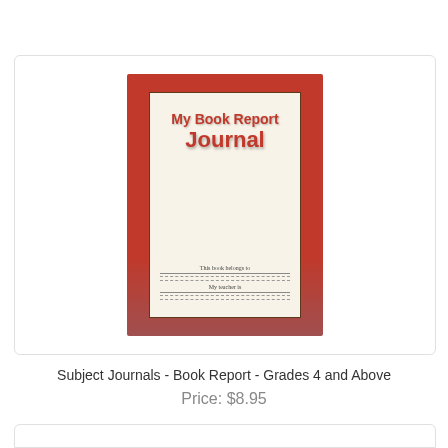[Figure (illustration): Book cover image for 'My Book Report Journal' — red cover with cream inner page, bold red title text, and fill-in fields for 'This book belongs to' and 'My teacher is'.]
Subject Journals - Book Report - Grades 4 and Above
Price: $8.95